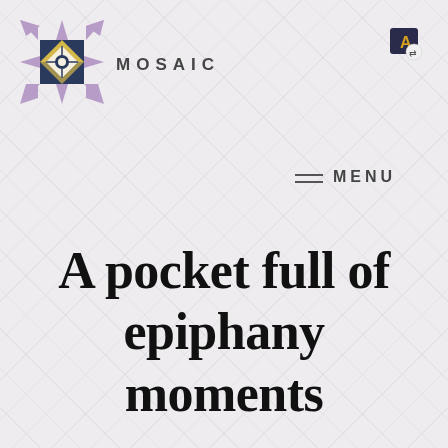[Figure (logo): Mosaic logo: geometric quilt star pattern in purple, navy, and gold, with the text MOSAIC in spaced caps beside it]
[Figure (illustration): Small translate/dictionary app icon in top right corner]
MENU
A pocket full of epiphany moments